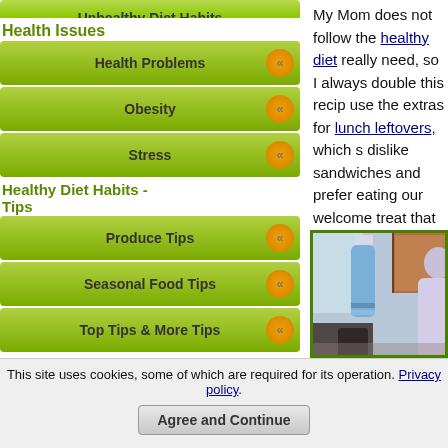Unhealthy Diet Habits
Health Issues
Health Problems
Obesity
Stress
Healthy Diet Habits - Tips
Produce Tips
Seasonal Food Tips
Top Tips & More Tips
Healthy Foods
Healthy Foods
Organic Foods
My Mom does not follow the healthy diet really need, so I always double this recipe use the extras for lunch leftovers, which s dislike sandwiches and prefer eating our welcome treat that lets us keep pasta in o
[Figure (photo): Kitchen scene showing a blue towel hanging on a hook, wooden cabinets, and a person with white/gray hair on the right side]
This site uses cookies, some of which are required for its operation. Privacy policy
Agree and Continue